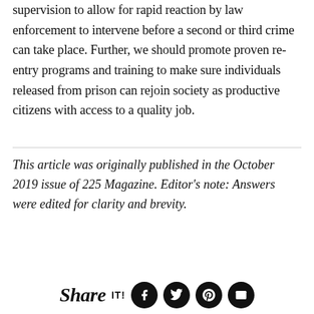supervision to allow for rapid reaction by law enforcement to intervene before a second or third crime can take place. Further, we should promote proven re-entry programs and training to make sure individuals released from prison can rejoin society as productive citizens with access to a quality job.
This article was originally published in the October 2019 issue of 225 Magazine. Editor's note: Answers were edited for clarity and brevity.
[Figure (other): Share it social media bar with Facebook, Twitter, Pinterest, and email icons]